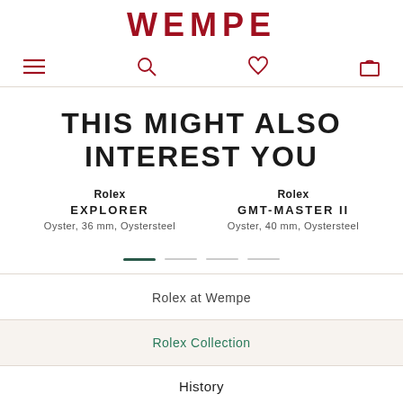WEMPE
THIS MIGHT ALSO INTEREST YOU
Rolex EXPLORER Oyster, 36 mm, Oystersteel
Rolex GMT-MASTER II Oyster, 40 mm, Oystersteel
Rolex at Wempe
Rolex Collection
History